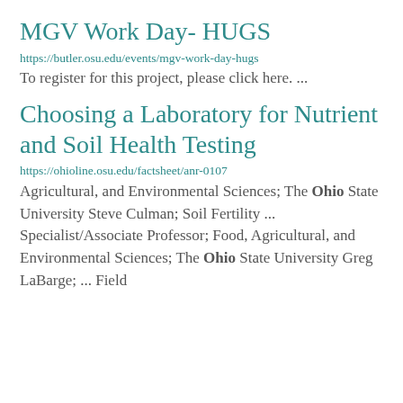MGV Work Day- HUGS
https://butler.osu.edu/events/mgv-work-day-hugs
To register for this project, please click here. ...
Choosing a Laboratory for Nutrient and Soil Health Testing
https://ohioline.osu.edu/factsheet/anr-0107
Agricultural, and Environmental Sciences; The Ohio State University Steve Culman; Soil Fertility ... Specialist/Associate Professor; Food, Agricultural, and Environmental Sciences; The Ohio State University Greg LaBarge; ... Field